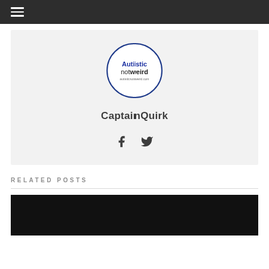≡
[Figure (logo): Autistic Not Weird circular logo with text 'Autistic not weird autisticnotweird.com']
CaptainQuirk
[Figure (infographic): Social media icons: Facebook and Twitter]
RELATED POSTS
[Figure (photo): Dark/black image thumbnail for related post]